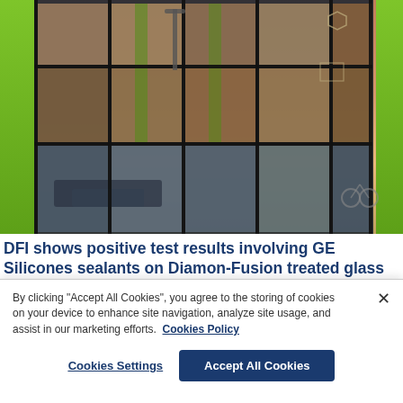[Figure (photo): Exterior of a modern glass-facade building reflecting a sunset sky, with green accent panels and trees in the background.]
DFI shows positive test results involving GE Silicones sealants on Diamon-Fusion treated glass
The test results showed no adverse reaction to GE Silicones when testing the Diamon-Fusion hand
By clicking "Accept All Cookies", you agree to the storing of cookies on your device to enhance site navigation, analyze site usage, and assist in our marketing efforts. Cookies Policy
Cookies Settings | Accept All Cookies